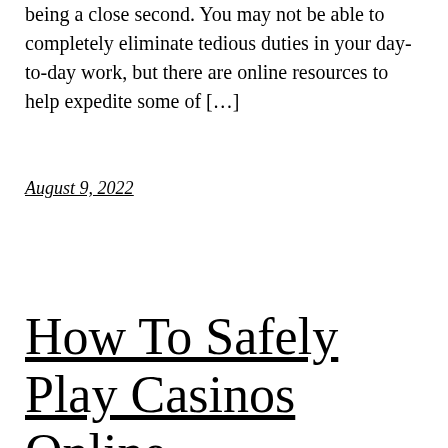being a close second. You may not be able to completely eliminate tedious duties in your day-to-day work, but there are online resources to help expedite some of […]
August 9, 2022
How To Safely Play Casinos Online